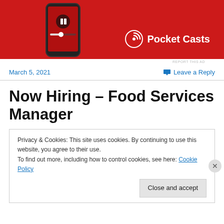[Figure (photo): Pocket Casts advertisement banner with red background showing a smartphone and the Pocket Casts logo with white text]
REPORT THIS AD
March 5, 2021
Leave a Reply
Now Hiring – Food Services Manager
Privacy & Cookies: This site uses cookies. By continuing to use this website, you agree to their use.
To find out more, including how to control cookies, see here: Cookie Policy
Close and accept